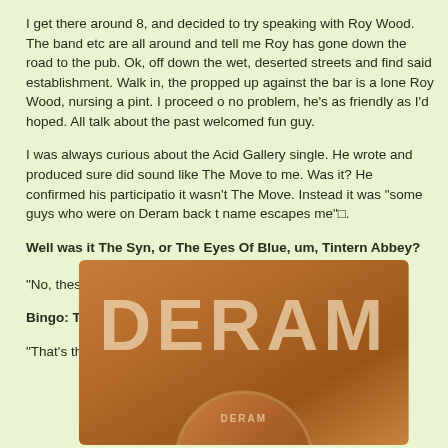I get there around 8, and decided to try speaking with Roy Wood. The band etc are all around and tell me Roy has gone down the road to the pub. Ok, off down the wet, deserted streets and find said establishment. Walk in, there propped up against the bar is a lone Roy Wood, nursing a pint. I proceed out no problem, he's as friendly as I'd hoped. All talk about the past welcomed fun guy.
I was always curious about the Acid Gallery single. He wrote and produced it sure did sound like The Move to me. Was it? He confirmed his participation but it wasn't The Move. Instead it was "some guys who were on Deram back the name escapes me"□.
Well was it The Syn, or The Eyes Of Blue, um, Tintern Abbey?
"No, these guys had a hit a few years later with 'Yellow River' ".
Bingo: The Outer Limits.
"That's them" he confirms.
[Figure (photo): A Deram record label (vinyl single) showing the orange/brown label with DERAM text prominently displayed and a circular center label below.]